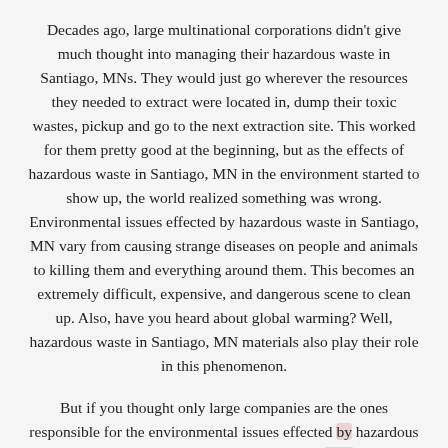Decades ago, large multinational corporations didn't give much thought into managing their hazardous waste in Santiago, MNs. They would just go wherever the resources they needed to extract were located in, dump their toxic wastes, pickup and go to the next extraction site. This worked for them pretty good at the beginning, but as the effects of hazardous waste in Santiago, MN in the environment started to show up, the world realized something was wrong. Environmental issues effected by hazardous waste in Santiago, MN vary from causing strange diseases on people and animals to killing them and everything around them. This becomes an extremely difficult, expensive, and dangerous scene to clean up. Also, have you heard about global warming? Well, hazardous waste in Santiago, MN materials also play their role in this phenomenon.
But if you thought only large companies are the ones responsible for the environmental issues effected by hazardous waste in Santiago, MN, think again. There are a lot of household hazardous waste by normal people produced in their every day life. This are products that are found right